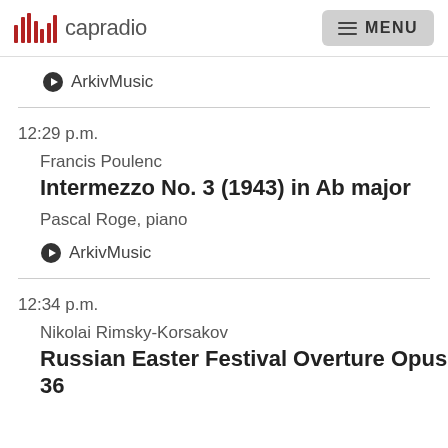capradio  MENU
► ArkivMusic
12:29 p.m.
Francis Poulenc
Intermezzo No. 3 (1943) in Ab major
Pascal Roge, piano
► ArkivMusic
12:34 p.m.
Nikolai Rimsky-Korsakov
Russian Easter Festival Overture Opus 36